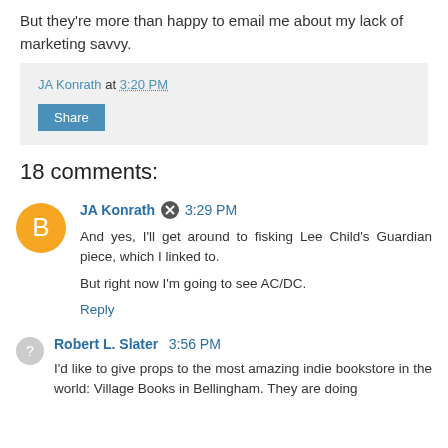But they're more than happy to email me about my lack of marketing savvy.
JA Konrath at 3:20 PM
Share
18 comments:
JA Konrath 3:29 PM
And yes, I'll get around to fisking Lee Child's Guardian piece, which I linked to.

But right now I'm going to see AC/DC.
Reply
Robert L. Slater 3:56 PM
I'd like to give props to the most amazing indie bookstore in the world: Village Books in Bellingham. They are doing